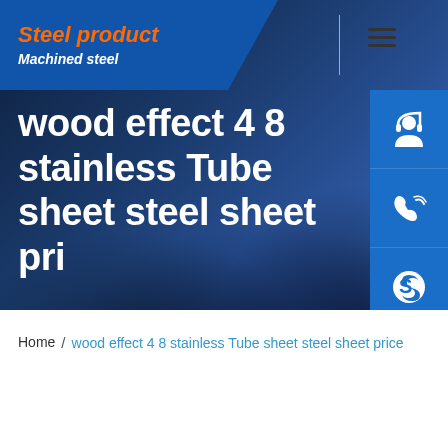Steel product | Machined steel
wood effect 4 8 stainless Tube sheet steel sheet pri
Home / wood effect 4 8 stainless Tube sheet steel sheet price